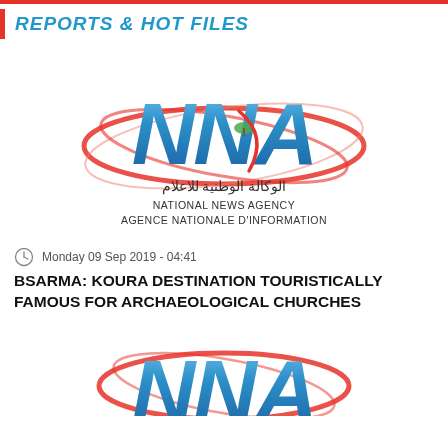REPORTS & HOT FILES
[Figure (logo): NNA - National News Agency / Agence Nationale d'Information logo with red orbital rings and Arabic text الوكالة الوطنية للاعلام]
Monday 09 Sep 2019 - 04:41
BSARMA: KOURA DESTINATION TOURISTICALLY FAMOUS FOR ARCHAEOLOGICAL CHURCHES
[Figure (logo): NNA logo partial (bottom of page), showing the large blue NNA letters with red orbital rings]